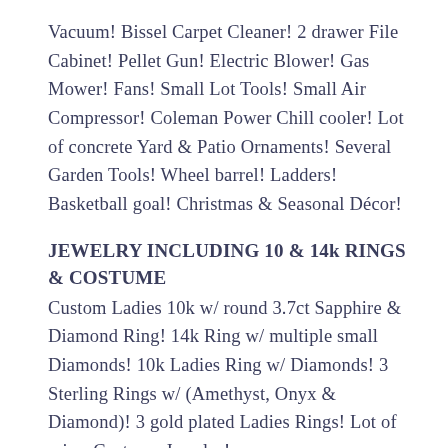Vacuum! Bissel Carpet Cleaner! 2 drawer File Cabinet! Pellet Gun! Electric Blower! Gas Mower! Fans! Small Lot Tools! Small Air Compressor! Coleman Power Chill cooler! Lot of concrete Yard & Patio Ornaments! Several Garden Tools! Wheel barrel! Ladders! Basketball goal! Christmas & Seasonal Décor!
JEWELRY INCLUDING 10 & 14k RINGS & COSTUME
Custom Ladies 10k w/ round 3.7ct Sapphire & Diamond Ring! 14k Ring w/ multiple small Diamonds! 10k Ladies Ring w/ Diamonds! 3 Sterling Rings w/ (Amethyst, Onyx & Diamond)! 3 gold plated Ladies Rings! Lot of misc. Costume Jewelry!
TERMS: CASH, credit w/3% convenience fee